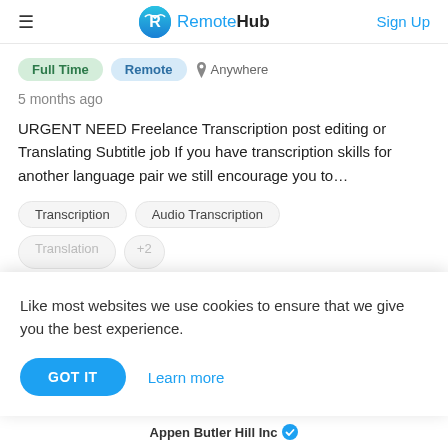RemoteHub — Sign Up
Full Time  Remote  Anywhere
5 months ago
URGENT NEED Freelance Transcription post editing or Translating Subtitle job If you have transcription skills for another language pair we still encourage you to…
Transcription  Audio Transcription  Translation  +2
Like most websites we use cookies to ensure that we give you the best experience.
GOT IT  Learn more
Appen Butler Hill Inc